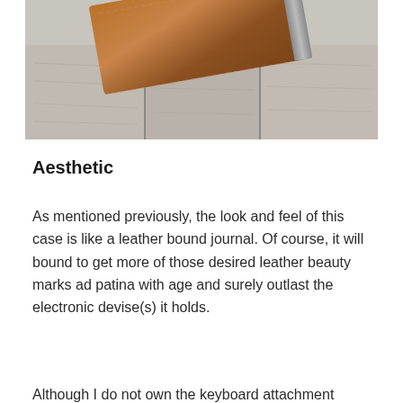[Figure (photo): A brown leather wallet/case resting on weathered grey wooden planks, photographed from above at an angle.]
Aesthetic
As mentioned previously, the look and feel of this case is like a leather bound journal. Of course, it will bound to get more of those desired leather beauty marks ad patina with age and surely outlast the electronic devise(s) it holds.
Although I do not own the keyboard attachment